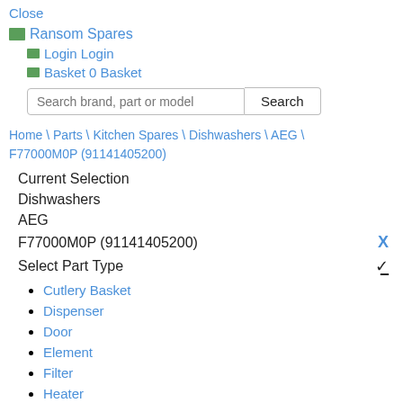Close
Ransom Spares
Login Login
Basket 0 Basket
Search brand, part or model [Search button]
Home \ Parts \ Kitchen Spares \ Dishwashers \ AEG \ F77000M0P (91141405200)
Current Selection
Dishwashers
AEG
F77000M0P (91141405200) X
Select Part Type
Cutlery Basket
Dispenser
Door
Element
Filter
Heater
Hinge
Hose
Lock
Motor